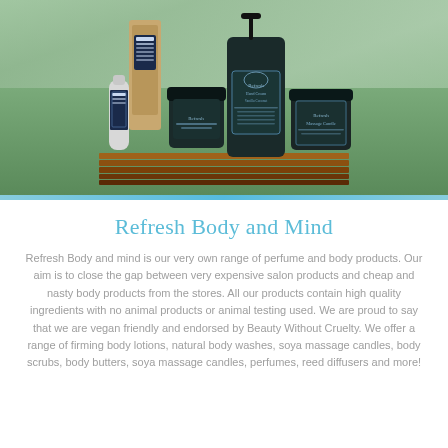[Figure (photo): Photo of Refresh Body and Mind brand beauty products including hand cream tubes, jars, a pump bottle, and a massage candle, all in dark teal/navy packaging with decorative labels, arranged on a wooden platform tray on grass]
Refresh Body and Mind
Refresh Body and mind is our very own range of perfume and body products. Our aim is to close the gap between very expensive salon products and cheap and nasty body products from the stores. All our products contain high quality ingredients with no animal products or animal testing used. We are proud to say that we are vegan friendly and endorsed by Beauty Without Cruelty. We offer a range of firming body lotions, natural body washes, soya massage candles, body scrubs, body butters, soya massage candles, perfumes, reed diffusers and more!